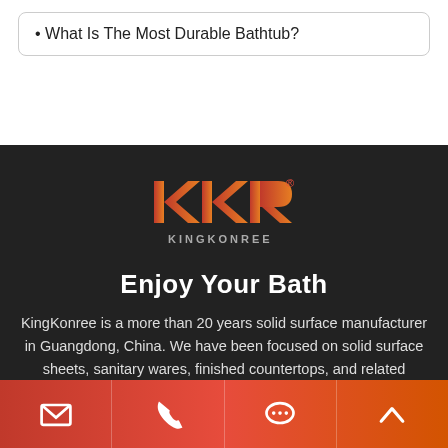• What Is The Most Durable Bathtub?
[Figure (logo): KingKonree logo — KKR letters in red-to-orange gradient with registered trademark symbol, KINGKONREE text below in grey]
Enjoy Your Bath
KingKonree is a more than 20 years solid surface manufacturer in Guangdong, China. We have been focused on solid surface sheets, sanitary wares, finished countertops, and related fabrications since 2000.
[email icon] [phone icon] [chat icon] [up arrow icon]